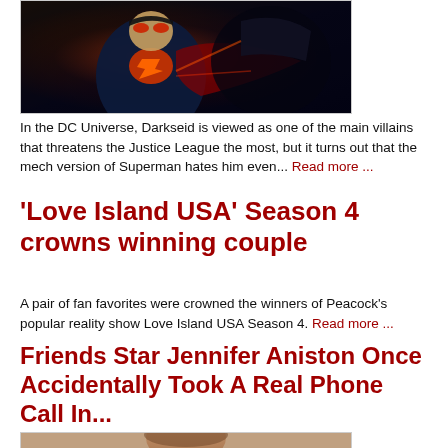[Figure (illustration): Comic book artwork showing Superman in a dark mech suit with red/orange glowing chest emblem fighting another character against a dark background]
In the DC Universe, Darkseid is viewed as one of the main villains that threatens the Justice League the most, but it turns out that the mech version of Superman hates him even... Read more ...
'Love Island USA' Season 4 crowns winning couple
A pair of fan favorites were crowned the winners of Peacock's popular reality show Love Island USA Season 4. Read more ...
Friends Star Jennifer Aniston Once Accidentally Took A Real Phone Call In...
[Figure (photo): Partial photo of a person, appears to be a celebrity or actress, cropped at the bottom of the page]